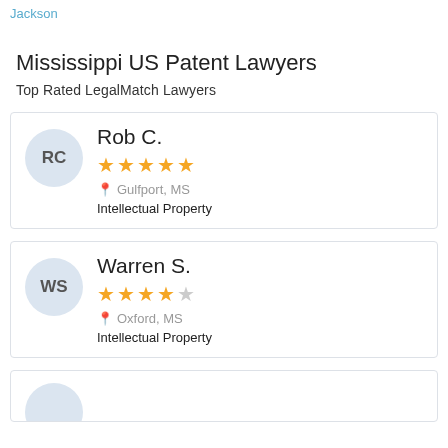Jackson
Mississippi US Patent Lawyers
Top Rated LegalMatch Lawyers
Rob C.
★★★★★
Gulfport, MS
Intellectual Property
Warren S.
★★★★☆
Oxford, MS
Intellectual Property